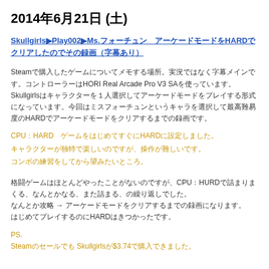2014年6月21日 (土)
Skullgirls▶Play002▶Ms.フォーチュン　アーケードモードをHARDでクリアしたのでその録画（字幕あり）
Steamで購入したゲームについてメモする場所。実況ではなく字幕メインです。コントローラーはHORI Real Arcade Pro V3 SAを使っています。Skullgirlsはキャラクターを１人選択してアーケードモードをプレイする形式になっています。今回はミスフォーチュンというキャラを選択して最高難易度のHARDでアーケードモードをクリアするまでの録画です。
CPU：HARD　ゲームをはじめてすぐにHARDに設定しました。
キャラクターが独特で楽しいのですが、操作が難しいです。
コンボの練習をしてから望みたいところ。
格闘ゲームはほとんどやったことがないのですが、CPU：HURDで詰まりまくる、なんとかなる、また詰まる、の繰り返しでした。
なんとか攻略 → アーケードモードをクリアするまでの録画になります。
はじめてプレイするのにHARDはきつかったです。
PS.
SteamのセールでSkullgirlsが$3.74で購入できました。